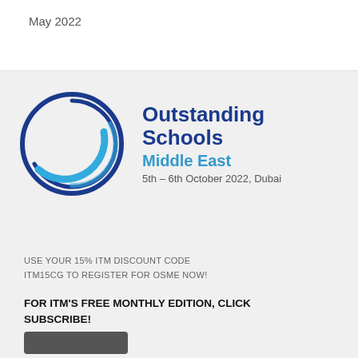May 2022
[Figure (logo): Outstanding Schools Middle East logo with concentric blue circles and text: Outstanding Schools Middle East, 5th – 6th October 2022, Dubai]
USE YOUR 15% ITM DISCOUNT CODE ITM15CG TO REGISTER FOR OSME NOW!
FOR ITM'S FREE MONTHLY EDITION, CLICK SUBSCRIBE!